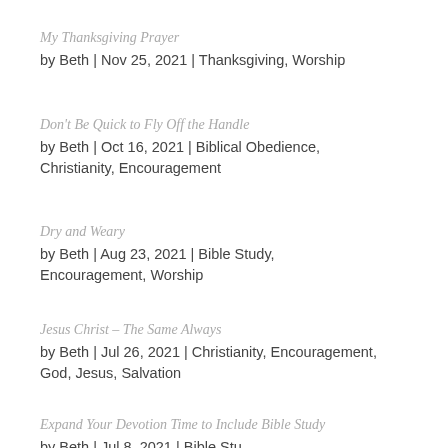My Thanksgiving Prayer
by Beth | Nov 25, 2021 | Thanksgiving, Worship
Don't Be Quick to Fly Off the Handle
by Beth | Oct 16, 2021 | Biblical Obedience, Christianity, Encouragement
Dry and Weary
by Beth | Aug 23, 2021 | Bible Study, Encouragement, Worship
Jesus Christ – The Same Always
by Beth | Jul 26, 2021 | Christianity, Encouragement, God, Jesus, Salvation
Expand Your Devotion Time to Include Bible Study
by Beth | Jul 8, 2021 | Bible Study...